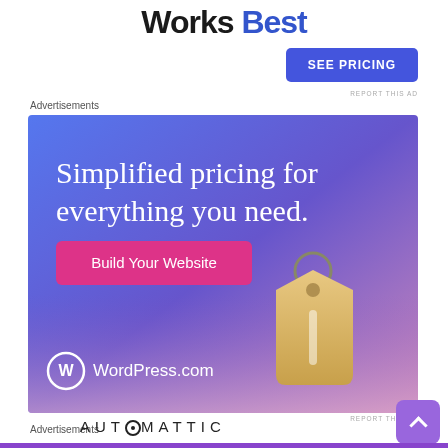Works Best
SEE PRICING
REPORT THIS AD
Advertisements
[Figure (illustration): WordPress.com advertisement banner with blue-purple gradient background, price tag graphic, text 'Simplified pricing for everything you need.', pink 'Build Your Website' button, and WordPress.com logo/wordmark at bottom left.]
REPORT THIS AD
Advertisements
AUTOMATTIC